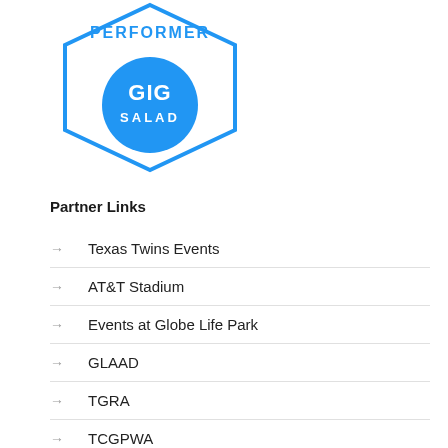[Figure (logo): GigSalad Performer badge: a blue shield/pentagon shape with text 'PERFORMER' at top and a blue circle containing 'GIG SALAD' in white text]
Partner Links
Texas Twins Events
AT&T Stadium
Events at Globe Life Park
GLAAD
TGRA
TCGPWA
Chef Connie Bakes